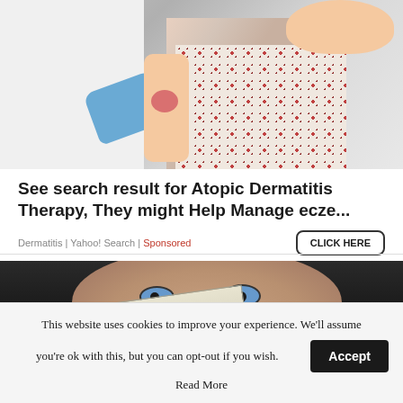[Figure (photo): Doctor in white coat wearing blue gloves examining a rash on a young girl's arm. Girl is wearing a floral dress and smiling.]
See search result for Atopic Dermatitis Therapy, They might Help Manage ecze...
Dermatitis | Yahoo! Search | Sponsored
[Figure (photo): Close-up of a man's face with blue eyes, holding a two-dollar bill partially covering his face.]
This website uses cookies to improve your experience. We'll assume you're ok with this, but you can opt-out if you wish.
Read More